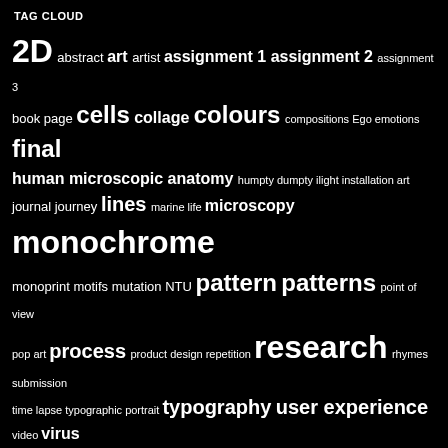TAG CLOUD
[Figure (infographic): Tag cloud with words of varying sizes on a black background. Words include: 2D, abstract, art, artist, assignment 1, assignment 2, assignment 3, book page, cells, collage, colours, compositions, Ego, emotions, final, human microscopic anatomy, humpty dumpty, ilight, installation art, journal, journey, lines, marine life, microscopy, monochrome, monoprint, motifs, mutation, NTU, pattern, patterns, point of view, pop art, process, product design, repetition, research, rhymes, submission, time lapse, typographic portrait, typography, user experience, video, virus]
RECENT POSTS
Final – The Sky Above NTU
The Sky Above NTU